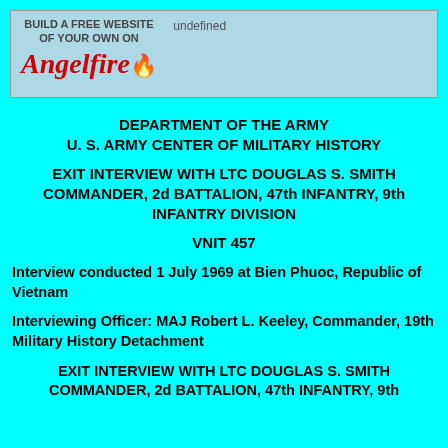[Figure (other): Angelfire banner advertisement: 'BUILD A FREE WEBSITE OF YOUR OWN ON Angelfire' with logo and flame, and 'undefined' text]
DEPARTMENT OF THE ARMY
U. S. ARMY CENTER OF MILITARY HISTORY
EXIT INTERVIEW WITH LTC DOUGLAS S. SMITH COMMANDER, 2d BATTALION, 47th INFANTRY, 9th INFANTRY DIVISION
VNIT 457
Interview conducted 1 July 1969 at Bien Phuoc, Republic of Vietnam
Interviewing Officer: MAJ Robert L. Keeley, Commander, 19th Military History Detachment
EXIT INTERVIEW WITH LTC DOUGLAS S. SMITH COMMANDER, 2d BATTALION, 47th INFANTRY, 9th